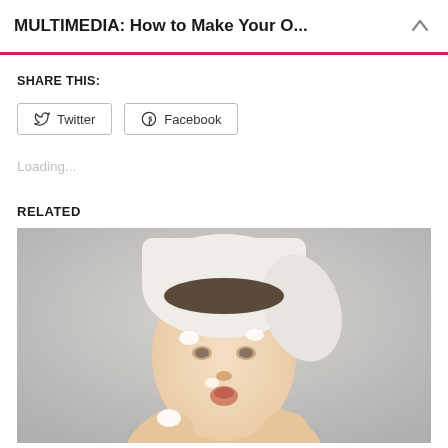MULTIMEDIA: How to Make Your O...
SHARE THIS:
Twitter
Facebook
Loading...
RELATED
[Figure (photo): Young woman with white towel wrapped around her hair, blowing white cream/foam off her fingers, with cream spots on her face, on a grey background.]